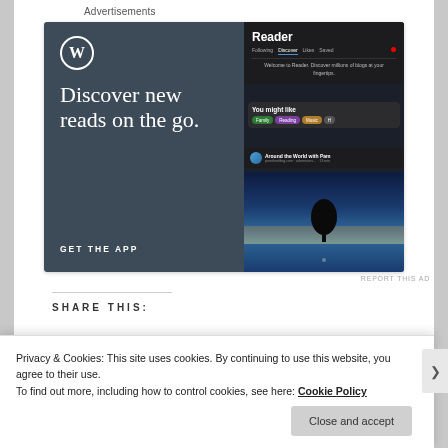Advertisements
[Figure (screenshot): WordPress app advertisement banner showing 'Discover new reads on the go.' with WordPress logo on dark slate background (left) and a phone UI mockup showing the Reader feature with blog discovery interface (right). Bottom has a landscape photo of a lone tree at dusk.]
REPORT THIS AD
SHARE THIS:
Privacy & Cookies: This site uses cookies. By continuing to use this website, you agree to their use.
To find out more, including how to control cookies, see here: Cookie Policy